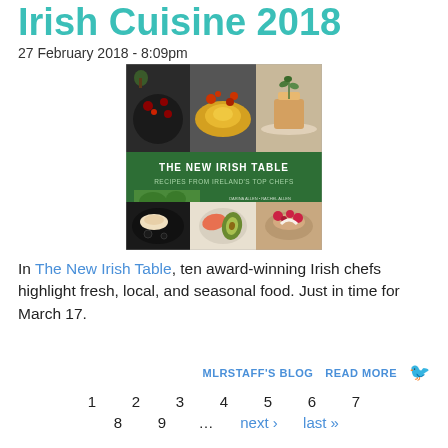Irish Cuisine 2018
27 February 2018 - 8:09pm
[Figure (photo): Book cover of 'The New Irish Table: Recipes from Ireland's Top Chefs' showing food photography collage with green banner]
In The New Irish Table, ten award-winning Irish chefs highlight fresh, local, and seasonal food. Just in time for March 17.
MLRSTAFF'S BLOG  READ MORE
1  2  3  4  5  6  7  8  9  …  next ›  last »